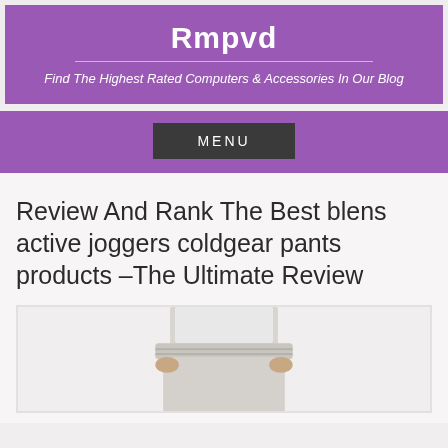Rmpvd
Find The Highest Rated Computers & Accessories In Our Blog
MENU
Review And Rank The Best blens active joggers coldgear pants products –The Ultimate Review
[Figure (photo): Photo of a person wearing light gray jogger pants with an elastic waistband, cropped at the waist showing partial torso and hands]